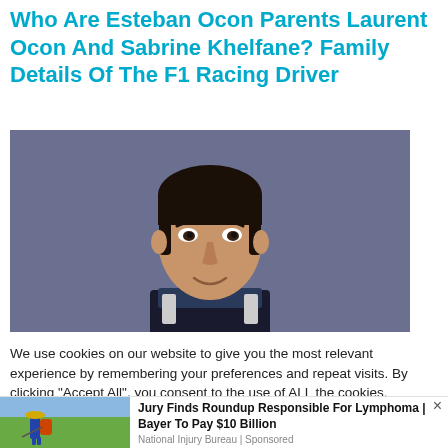Who Are Esteban Ocon Parents Laurent Ocon And Sabrine Khelfane? Family Details Of The F1 Racing Driver
[Figure (photo): Portrait photo of Esteban Ocon, F1 racing driver, wearing a racing suit, in front of a dark blue-grey background]
We use cookies on our website to give you the most relevant experience by remembering your preferences and repeat visits. By clicking "Accept All", you consent to the use of ALL the cookies. However, you may visit "Cookie Settings" to provide a controlled consent.
[Figure (photo): Small thumbnail image of a person spraying crops in a field with a backpack sprayer, green landscape background]
Jury Finds Roundup Responsible For Lymphoma | Bayer To Pay $10 Billion
National Injury Bureau | Sponsored